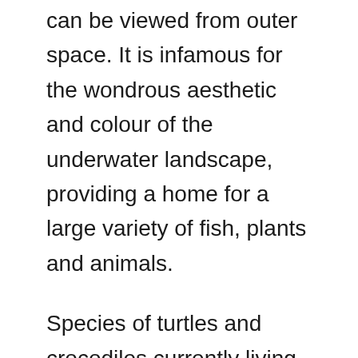can be viewed from outer space. It is infamous for the wondrous aesthetic and colour of the underwater landscape, providing a home for a large variety of fish, plants and animals.
Species of turtles and crocodiles currently living in the reef date back prehistoric times, maintain a lifestyle that has existed for thousands of years. The breathtaking collection of marine creatures includes 600 types of soft and hard corals, 1625 types of fish, 133 varieties of sharks and rays, more than 100 species of